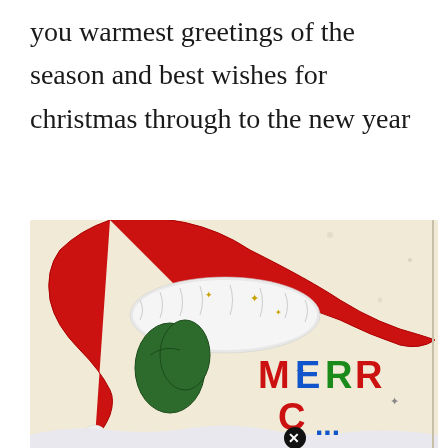you warmest greetings of the season and best wishes for christmas through to the new year
[Figure (illustration): Vintage Christmas card illustration showing a figure wearing a large red Santa hat with white fur trim, green mittens/gloves, and the text 'MERRY C...' in colorful letters (red M, blue E, green R, red R, blue C). Gold star decorations and a small black X circle at the bottom. Cream/off-white background with aged texture.]